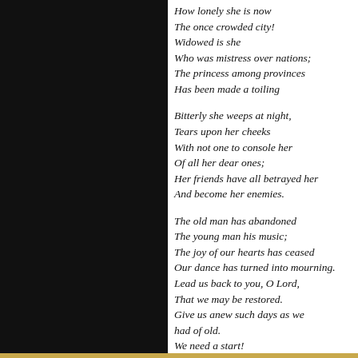How lonely she is now
The once crowded city!
Widowed is she
Who was mistress over nations;
The princess among provinces
Has been made a toiling
Bitterly she weeps at night,
Tears upon her cheeks
With not one to console her
Of all her dear ones;
Her friends have all betrayed her
And become her enemies.
The old man has abandoned
The young man his music;
The joy of our hearts has ceased
Our dance has turned into mourning.
Lead us back to you, O Lord,
That we may be restored.
Give us anew such days as we had of old.
We need a start!
Apologies in Lamentations of J